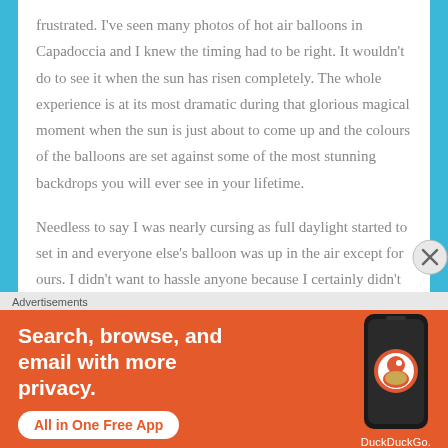frustrated. I've seen many photos of hot air balloons in Capadoccia and I knew the timing had to be right. It wouldn't do to see it when the sun has risen completely. The whole experience is at its most dramatic during that glorious magical moment when the sun is just about to come up and the colours of the balloons are set against some of the most stunning backdrops you will ever see in your lifetime.

Needless to say I was nearly cursing as full daylight started to set in and everyone else's balloon was up in the air except for ours. I didn't want to hassle anyone because I certainly didn't want them to take shortcuts and compromise our safety. I was
[Figure (screenshot): DuckDuckGo advertisement banner with orange background. Text reads 'Search, browse, and email with more privacy. All in One Free App'. Shows a phone graphic with DuckDuckGo logo and branding.]